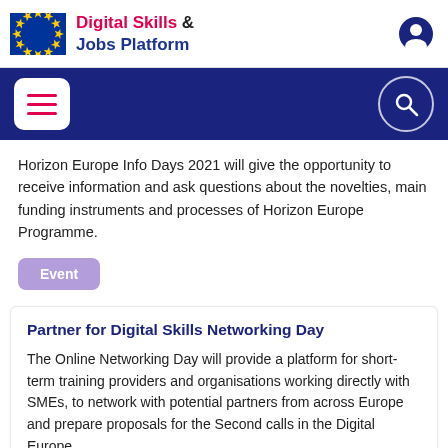Digital Skills & Jobs Platform
Horizon Europe Info Days 2021 will give the opportunity to receive information and ask questions about the novelties, main funding instruments and processes of Horizon Europe Programme.
Event
Partner for Digital Skills Networking Day
The Online Networking Day will provide a platform for short-term training providers and organisations working directly with SMEs, to network with potential partners from across Europe and prepare proposals for the Second calls in the Digital Europe